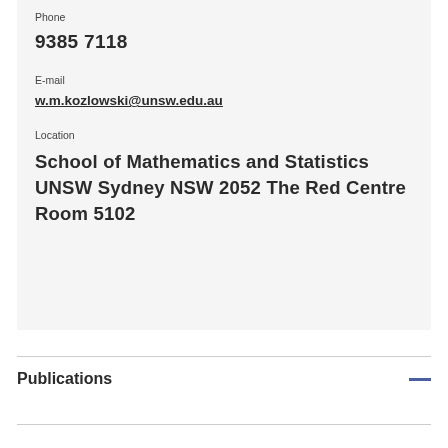Phone
9385 7118
E-mail
w.m.kozlowski@unsw.edu.au
Location
School of Mathematics and Statistics UNSW Sydney NSW 2052 The Red Centre Room 5102
Publications